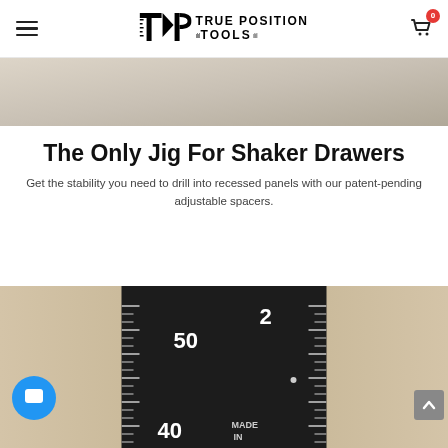TRUE POSITION TOOLS — Navigation header with hamburger menu and cart (0 items)
[Figure (photo): Top partial photo of a light-colored wooden surface or panel, beige/taupe tones]
The Only Jig For Shaker Drawers
Get the stability you need to drill into recessed panels with our patent-pending adjustable spacers.
[Figure (photo): Close-up photo of a black measurement ruler/jig showing markings at 50 and 40, with '2' and 'MADE IN' text visible, placed on a wooden surface]